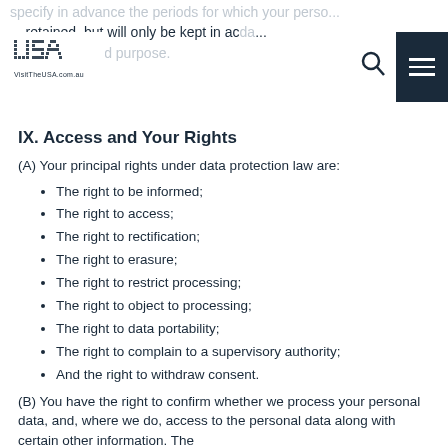specify in advance the periods for which your personal data will be retained, but will only be kept in accordance with its collected purpose.
IX. Access and Your Rights
(A) Your principal rights under data protection law are:
The right to be informed;
The right to access;
The right to rectification;
The right to erasure;
The right to restrict processing;
The right to object to processing;
The right to data portability;
The right to complain to a supervisory authority;
And the right to withdraw consent.
(B) You have the right to confirm whether we process your personal data, and, where we do, access to the personal data along with certain other information. The